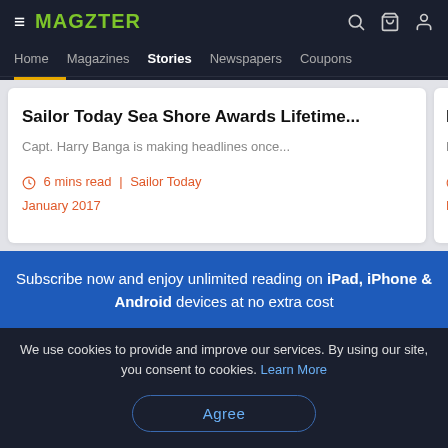≡ MAGZTER
Home | Magazines | Stories | Newspapers | Coupons
Sailor Today Sea Shore Awards Lifetime...
Capt. Harry Banga is making headlines once...
6 mins read | Sailor Today
January 2017
Meeting...
Bridging...
2 mins...
Decemb...
Subscribe now and enjoy unlimited reading on iPad, iPhone & Android devices at no extra cost
We use cookies to provide and improve our services. By using our site, you consent to cookies. Learn More
Agree